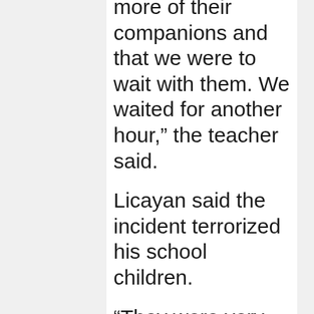as they were still waiting for more of their companions and that we were to wait with them. We waited for another hour,” the teacher said.
Licayan said the incident terrorized his school children.
“They were very scared. Who wouldn’t be? The soldiers were armed and they acted as if we have information on their enemies that we are withholding,” he said.
Dawsay also said that other